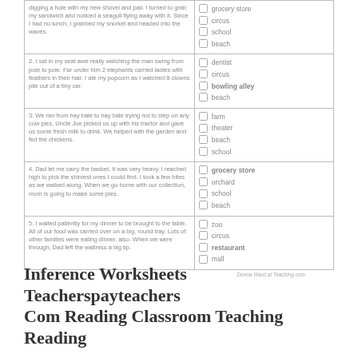| Story | Choices |
| --- | --- |
| digging a hole with my new shovel and pail. I turned to grab my sandwich and noticed a seagull flying away with it. Since I had no lunch, I grabbed my snorkel and headed into the waves. | grocery store
circus
school
beach |
| 2. I sat in my seat awe really watching the man swing from pole to pole. Far under him 2 elephants carried ladies with feathers in their hair. I ate my popcorn as I watched 8 clowns pile out of a tiny car. | dentist
circus
bowling alley
beach |
| 3. We ran from hay bale to hay bale trying not to step on any cow pies. Uncle Joe picked us up with his tractor and gave us some fresh milk to drink. We helped with the garden and fed the chickens. | farm
theater
beach
school |
| 4. Dad let me carry the basket. It was very heavy. I reached high to pick the shiniest ones I could find. I took a few bites as we walked along. When we go home with our collection, mom is going to make some pies. | grocery store
orchard
school
beach |
| 5. I waited patiently for my dinner to be brought to the table. All of our food was carried over on a big, round tray. Lots of other families were eating dinner, also. When we were through, Dad left the waitress a big tip. | zoo
circus
restaurant
mall |
Inference Worksheets Teacherspayteachers
Com Reading Classroom Teaching Reading